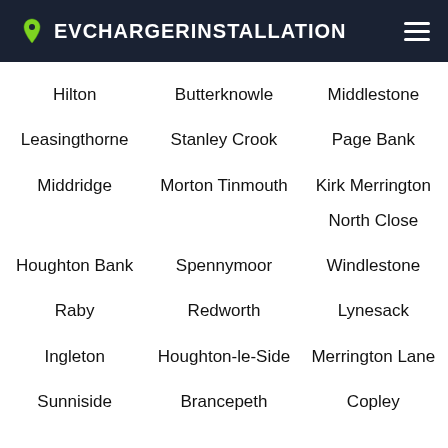EVCHARGERINSTALLATION
Hilton
Butterknowle
Middlestone
Leasingthorne
Stanley Crook
Page Bank
Middridge
Morton Tinmouth
Kirk Merrington
North Close
Houghton Bank
Spennymoor
Windlestone
Raby
Redworth
Lynesack
Ingleton
Houghton-le-Side
Merrington Lane
Sunniside
Brancepeth
Copley